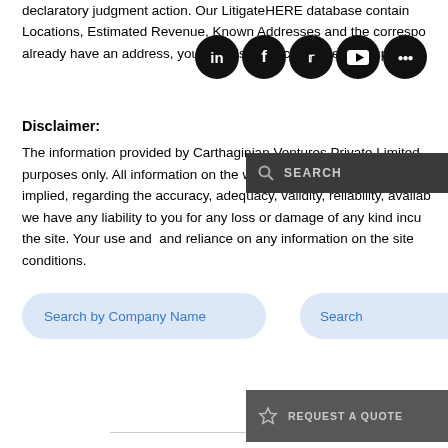declaratory judgment action. Our LitigateHERE database contains Locations, Estimated Revenue, Known Addresses and the corresponding already have an address, you can also search for the corresponding
[Figure (screenshot): Social media icons bar: LinkedIn, Facebook, Twitter, YouTube, and another icon (possibly Medium or similar), all circular black icons]
Disclaimer:
The information provided by Carthaginian Ventures Private Limited purposes only. All information on the website is provided in good faith implied, regarding the accuracy, adequacy, validity, reliability, availability we have any liability to you for any loss or damage of any kind incurred the site. Your use and and reliance on any information on the site conditions.
[Figure (screenshot): Search overlay bar with magnifying glass icon and 'SEARCH' text on dark grey background]
[Figure (screenshot): Two search input fields: 'Search by Company Name' on the left and 'Search' on the right, both with light blue pill-shaped styling]
[Figure (screenshot): Request a quote button bar with star icon and 'REQUEST A QUOTE' text on dark grey background, overlapping with bold text 'Haomone']